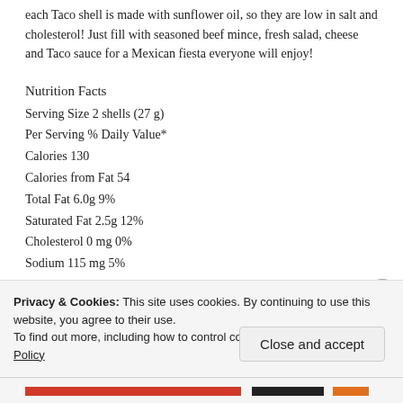each Taco shell is made with sunflower oil, so they are low in salt and cholesterol! Just fill with seasoned beef mince, fresh salad, cheese and Taco sauce for a Mexican fiesta everyone will enjoy!
Nutrition Facts
Serving Size 2 shells (27 g)
Per Serving % Daily Value*
Calories 130
Calories from Fat 54
Total Fat 6.0g 9%
Saturated Fat 2.5g 12%
Cholesterol 0 mg 0%
Sodium 115 mg 5%
Carbohydrates 16.0g 5%
Dietary Fiber 1.0g 4%
Privacy & Cookies: This site uses cookies. By continuing to use this website, you agree to their use.
To find out more, including how to control cookies, see here: Cookie Policy
Close and accept